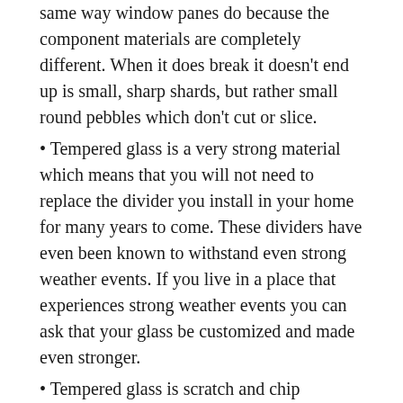same way window panes do because the component materials are completely different. When it does break it doesn't end up is small, sharp shards, but rather small round pebbles which don't cut or slice.
• Tempered glass is a very strong material which means that you will not need to replace the divider you install in your home for many years to come. These dividers have even been known to withstand even strong weather events. If you live in a place that experiences strong weather events you can ask that your glass be customized and made even stronger.
• Tempered glass is scratch and chip resistant. Your dividers will retain their new look for as long as they remain up. Some people worry about cleaning – glass gets smudged rather fast and so requires frequent cleaning. This is only a concern if you have small children, but even then, all you need is a quick wipe and your glass is clean and clear.